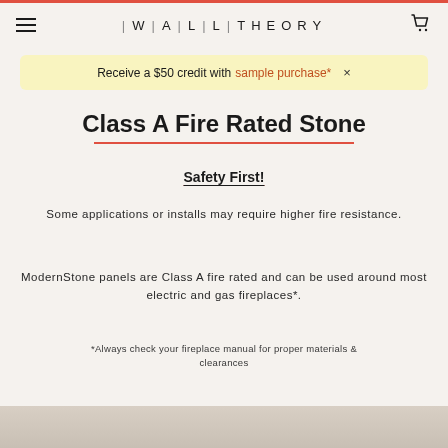WALLTHEORY
Receive a $50 credit with sample purchase* ×
Class A Fire Rated Stone
Safety First!
Some applications or installs may require higher fire resistance.
ModernStone panels are Class A fire rated and can be used around most electric and gas fireplaces*.
*Always check your fireplace manual for proper materials & clearances